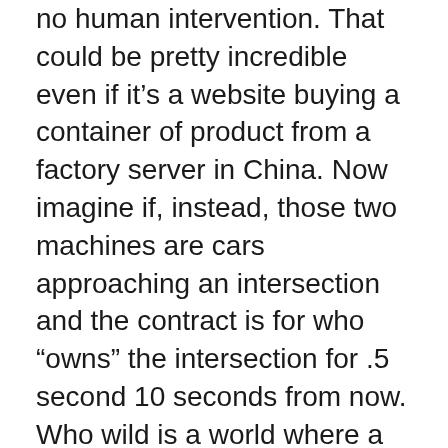no human intervention. That could be pretty incredible even if it's a website buying a container of product from a factory server in China. Now imagine if, instead, those two machines are cars approaching an intersection and the contract is for who “owns” the intersection for .5 second 10 seconds from now. Who wild is a world where a contract replaces a stoplight? There’s a whole new platform for applications growing out of Ethereum, learn more about the possibilities and the sought-after skill required to write Ethereum contracts.